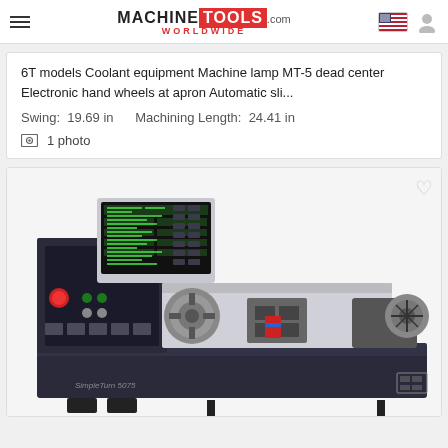MACHINETOOLS.com WORLDWIDE
6T models Coolant equipment Machine lamp MT-5 dead center Electronic hand wheels at apron Automatic sli...
Swing: 19.69 in    Machining Length: 24.41 in
1 photo
[Figure (photo): CNC lathe machine (SimpleTurn 5075) with control panel, chuck, and tailstock on white background]